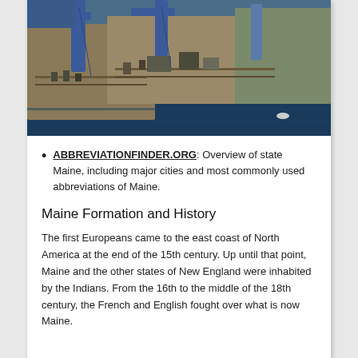[Figure (photo): Aerial view of a shipyard with large ships under construction, cranes visible, dark blue water surrounding the dry dock area.]
ABBREVIATIONFINDER.ORG: Overview of state Maine, including major cities and most commonly used abbreviations of Maine.
Maine Formation and History
The first Europeans came to the east coast of North America at the end of the 15th century. Up until that point, Maine and the other states of New England were inhabited by the Indians. From the 16th to the middle of the 18th century, the French and English fought over what is now Maine.